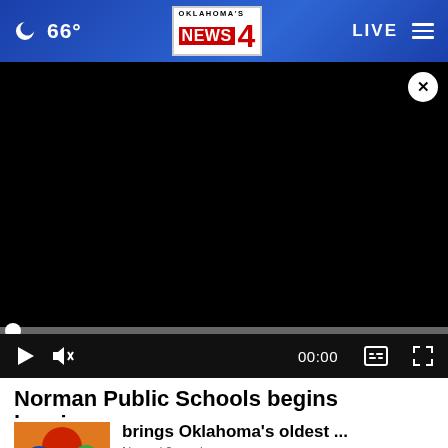66° | Oklahoma's News 4 | LIVE
[Figure (screenshot): Black video player with close button (X), progress bar at start, and playback controls: play button, mute button, time 00:00, captions icon, fullscreen icon]
Norman Public Schools begins hearings...
[Figure (photo): Colorful thumbnail image with cartoon/illustrated characters]
brings Oklahoma's oldest ...
News / 2 weeks ago